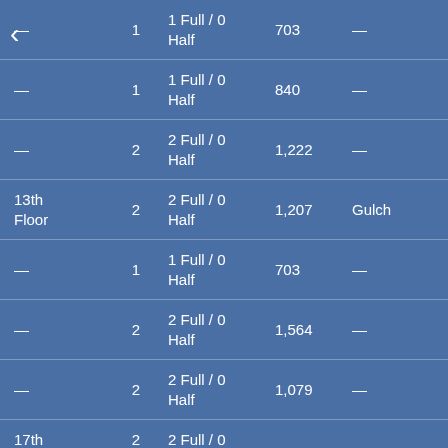| Name | Beds | Baths | SqFt | Neighborhood | Price |
| --- | --- | --- | --- | --- | --- |
| — | 1 | 1 Full / 0 Half | 703 | — | — |
| — | 1 | 1 Full / 0 Half | 840 | — | S? |
| — | 2 | 2 Full / 0 Half | 1,222 | — | S? |
| 13th Floor | 2 | 2 Full / 0 Half | 1,207 | Gulch | S? |
| — | 1 | 1 Full / 0 Half | 703 | — | — |
| — | 2 | 2 Full / 0 Half | 1,564 | — | S? |
| — | 2 | 2 Full / 0 Half | 1,079 | — | S? |
| 17th ... | 2 | 2 Full / 0 ... |  |  |  |